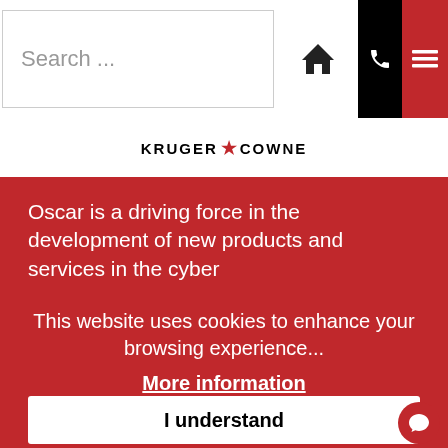Search ...
[Figure (logo): Kruger Cowne logo with red star between words]
Oscar is a driving force in the development of new products and services in the cyber
This website uses cookies to enhance your browsing experience...
More information
I understand